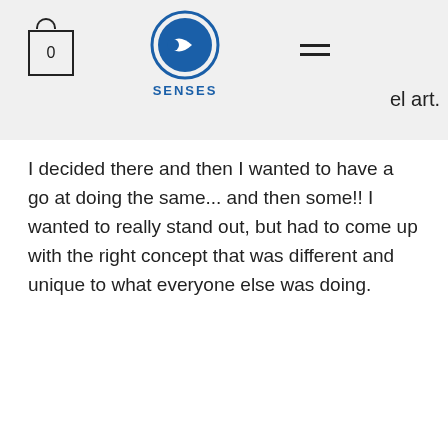SENSES — navigation header with cart icon, logo, and hamburger menu
I decided there and then I wanted to have a go at doing the same... and then some!! I wanted to really stand out, but had to come up with the right concept that was different and unique to what everyone else was doing.
Your brand and marketing is amazing!
We use cookies on our website to see how you interact with it. By accepting, you agree to our use of such cookies. See Privacy Policy
Decline All
Accept
Cookie Settings